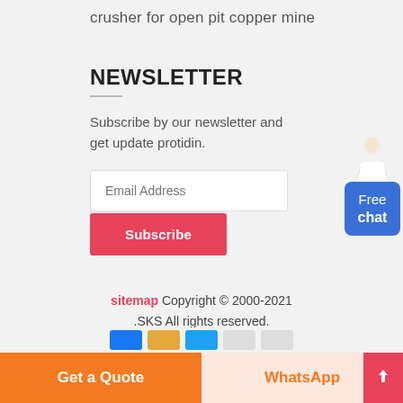crusher for open pit copper mine
NEWSLETTER
Subscribe by our newsletter and get update protidin.
[Figure (illustration): Person in white jacket with headset, representing customer service chat widget with 'Free chat' label on blue background]
Email Address
Subscribe
sitemap Copyright © 2000-2021 .SKS All rights reserved.
Get a Quote   WhatsApp